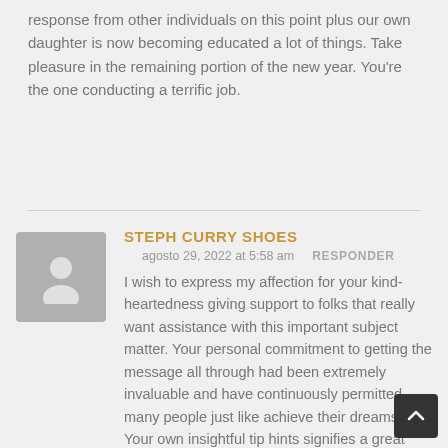response from other individuals on this point plus our own daughter is now becoming educated a lot of things. Take pleasure in the remaining portion of the new year. You're the one conducting a terrific job.
STEPH CURRY SHOES
agosto 29, 2022 at 5:58 am   RESPONDER
I wish to express my affection for your kind-heartedness giving support to folks that really want assistance with this important subject matter. Your personal commitment to getting the message all through had been extremely invaluable and have continuously permitted many people just like achieve their dreams. Your own insightful tip hints signifies a great deal to me and additionally to